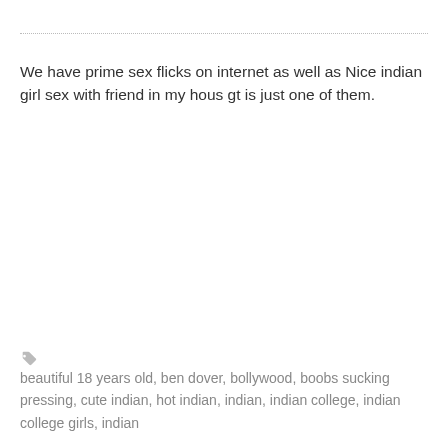We have prime sex flicks on internet as well as Nice indian girl sex with friend in my hous gt is just one of them.
beautiful 18 years old, ben dover, bollywood, boobs sucking pressing, cute indian, hot indian, indian, indian college, indian college girls, indian